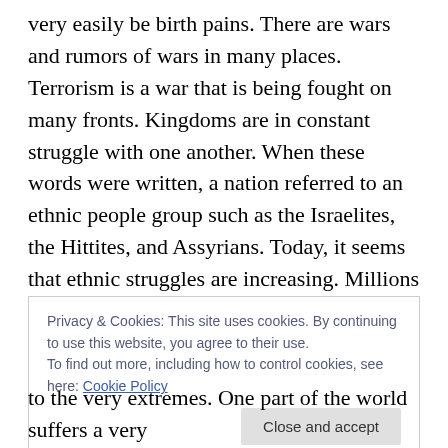very easily be birth pains. There are wars and rumors of wars in many places. Terrorism is a war that is being fought on many fronts. Kingdoms are in constant struggle with one another. When these words were written, a nation referred to an ethnic people group such as the Israelites, the Hittites, and Assyrians. Today, it seems that ethnic struggles are increasing. Millions of people have been killed in Africa because they do not belong to the correct ethnic group. Israel is under constant threat because, in the eyes of the many Muslims, they are the wrong ethnic group.
Privacy & Cookies: This site uses cookies. By continuing to use this website, you agree to their use.
To find out more, including how to control cookies, see here: Cookie Policy
to the very extremes. One part of the world suffers a very